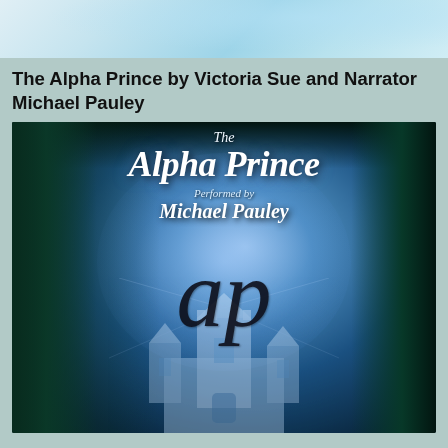[Figure (photo): Partial top banner image showing a blue and light teal atmospheric background, cropped at the top of the page.]
The Alpha Prince by Victoria Sue and Narrator Michael Pauley
[Figure (illustration): Book cover for 'The Alpha Prince' audiobook performed by Michael Pauley. Dark teal and blue fantasy-themed cover with white script text reading 'The Alpha Prince' and 'Performed by Michael Pauley', a large ornate 'AP' monogram in the center, and an illustrated fantasy castle in the background with radiating blue light.]